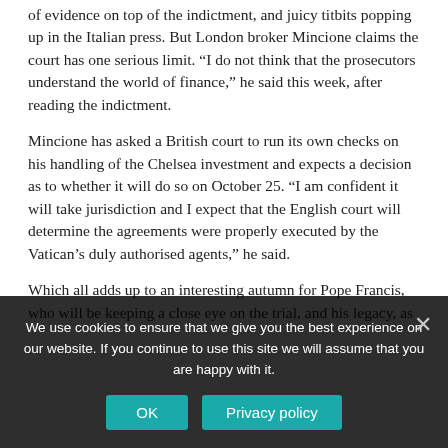of evidence on top of the indictment, and juicy titbits popping up in the Italian press. But London broker Mincione claims the court has one serious limit. “I do not think that the prosecutors understand the world of finance,” he said this week, after reading the indictment.
Mincione has asked a British court to run its own checks on his handling of the Chelsea investment and expects a decision as to whether it will do so on October 25. “I am confident it will take jurisdiction and I expect that the English court will determine the agreements were properly executed by the Vatican’s duly authorised agents,” he said.
Which all adds up to an interesting autumn for Pope Francis, who will be keeping a close eye on the trial, and his legacy, as he is under scrutiny before his own supporters with some of
We use cookies to ensure that we give you the best experience on our website. If you continue to use this site we will assume that you are happy with it.